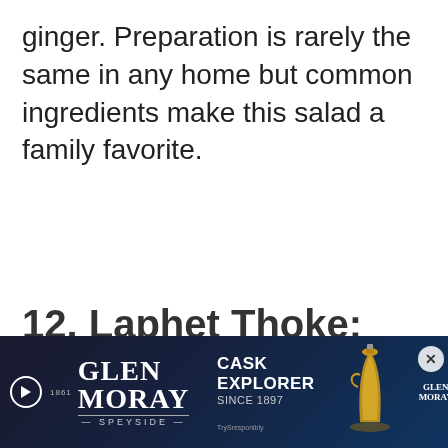ginger. Preparation is rarely the same in any home but common ingredients make this salad a family favorite.
12. Laphet Thoke: Tea Leaf Sa...
[Figure (other): Glen Moray Cask Explorer Since 1897 advertisement banner with whisky glass image and Glen Moray logo on dark blue background, with close button]